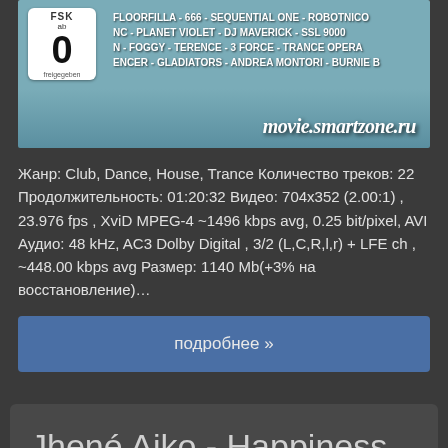[Figure (photo): Album/DVD cover image with FSK 0 badge, teal background with artist names text, and movie.smartzone.ru watermark]
Жанр: Club, Dance, House, Trance Количество треков: 22 Продолжительность: 01:20:32 Видео: 704x352 (2.00:1), 23.976 fps , XviD MPEG-4 ~1496 kbps avg, 0.25 bit/pixel, AVI Аудио: 48 kHz, AC3 Dolby Digital , 3/2 (L,C,R,l,r) + LFE ch , ~448.00 kbps avg Размер: 1140 Mb(+3% на восстановление)…
подробнее »
Jhené Aiko - Happiness Over Everything (H.O.E.) ft.